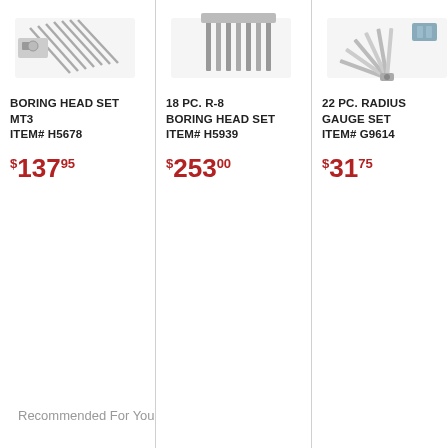[Figure (photo): Boring Head Set MT3 product image showing hex key set and boring tools]
BORING HEAD SET MT3
ITEM# H5678
$137.95
[Figure (photo): 18 PC. R-8 Boring Head Set product image showing boring tools]
18 PC. R-8 BORING HEAD SET
ITEM# H5939
$253.00
[Figure (photo): 22 PC. Radius Gauge Set product image]
22 PC. RADIUS GAUGE SET
ITEM# G9614
$31.75
[Figure (photo): Partially visible fourth product image]
4 ... FI... PO... SH... ITE...
$3...
Recommended For You